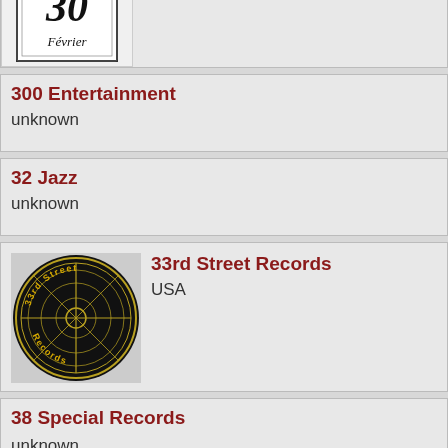[Figure (logo): 30 Février record label logo — stylized calendar page with '30' and 'Février' text, black and white illustration, partially cropped at top]
300 Entertainment
unknown
32 Jazz
unknown
[Figure (logo): 33rd Street Records circular logo — black background with gold/yellow text '33rd Street Records' arranged in a circle with crosshair center design]
33rd Street Records
USA
38 Special Records
unknown